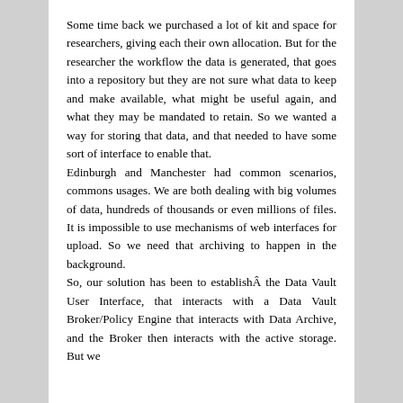Some time back we purchased a lot of kit and space for researchers, giving each their own allocation. But for the researcher the workflow the data is generated, that goes into a repository but they are not sure what data to keep and make available, what might be useful again, and what they may be mandated to retain. So we wanted a way for storing that data, and that needed to have some sort of interface to enable that.
Edinburgh and Manchester had common scenarios, commons usages. We are both dealing with big volumes of data, hundreds of thousands or even millions of files. It is impossible to use mechanisms of web interfaces for upload. So we need that archiving to happen in the background.
So, our solution has been to establishÂ the Data Vault User Interface, that interacts with a Data Vault Broker/Policy Engine that interacts with Data Archive, and the Broker then interacts with the active storage. But we